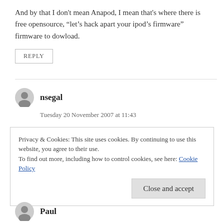And by that I don't mean Anapod, I mean that's where there is free opensource, “let’s hack apart your ipod’s firmware” firmware to dowload.
REPLY
nsegal
Tuesday 20 November 2007 at 11:43
THANK YOU for the detective work & work-around~ You must have heard me screaming about the date
Privacy & Cookies: This site uses cookies. By continuing to use this website, you agree to their use.
To find out more, including how to control cookies, see here: Cookie Policy
Close and accept
Paul